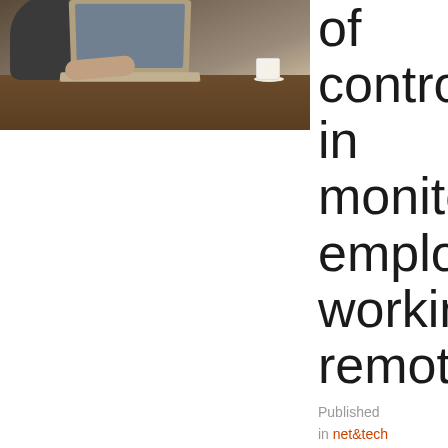[Figure (photo): Person sitting at a wooden table working on a laptop computer, with a coffee cup visible in the upper right. Photo is cropped showing only the upper portion of the scene.]
of control in monitoring employees working remotely
Published in net&tech
Vision Int, The UK's trade